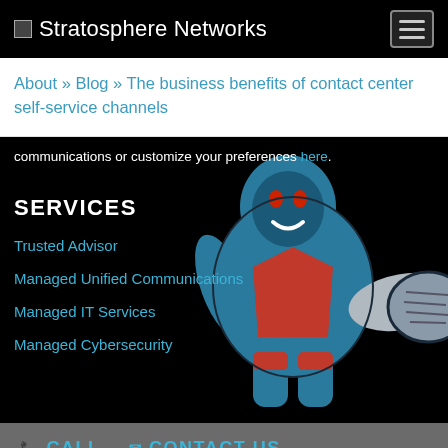Stratosphere Networks
About » Blog » The business benefits of contact center self-service channels
communications or customize your preferences here.
SERVICES
Trusted Advisor
Managed Unified Communications
Managed IT Services
Managed Cybersecurity
[Figure (illustration): Illustration of a blue superhero/robot character in a fighting pose with red accents, punching forward against a dark background]
CALL   CONTACT US